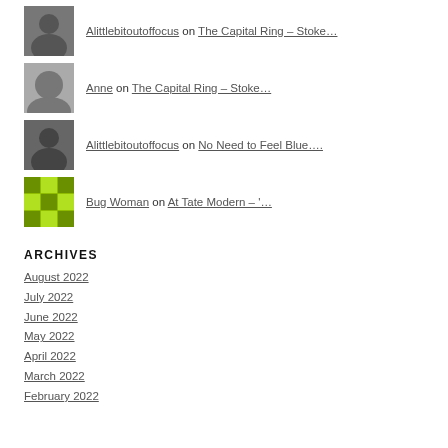Alittlebitoutoffocus on The Capital Ring – Stoke…
Anne on The Capital Ring – Stoke…
Alittlebitoutoffocus on No Need to Feel Blue….
Bug Woman on At Tate Modern – '…
ARCHIVES
August 2022
July 2022
June 2022
May 2022
April 2022
March 2022
February 2022